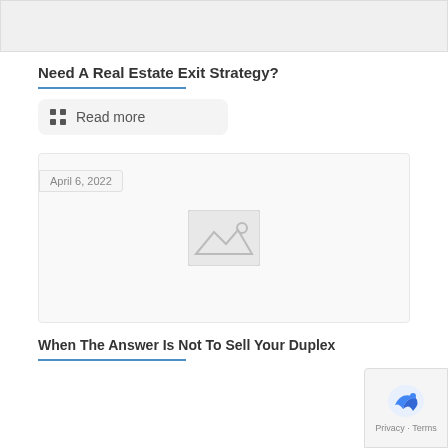[Figure (other): Top image strip placeholder, light gray rectangle]
Need A Real Estate Exit Strategy?
Read more
[Figure (photo): Image placeholder card with mountain/landscape icon, dated April 6, 2022]
When The Answer Is Not To Sell Your Duplex